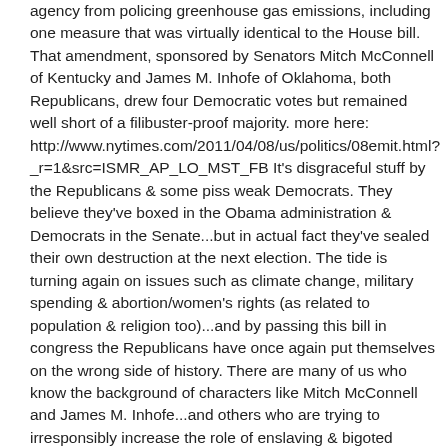agency from policing greenhouse gas emissions, including one measure that was virtually identical to the House bill. That amendment, sponsored by Senators Mitch McConnell of Kentucky and James M. Inhofe of Oklahoma, both Republicans, drew four Democratic votes but remained well short of a filibuster-proof majority. more here: http://www.nytimes.com/2011/04/08/us/politics/08emit.html?_r=1&src=ISMR_AP_LO_MST_FB It's disgraceful stuff by the Republicans & some piss weak Democrats. They believe they've boxed in the Obama administration & Democrats in the Senate...but in actual fact they've sealed their own destruction at the next election. The tide is turning again on issues such as climate change, military spending & abortion/women's rights (as related to population & religion too)...and by passing this bill in congress the Republicans have once again put themselves on the wrong side of history. There are many of us who know the background of characters like Mitch McConnell and James M. Inhofe...and others who are trying to irresponsibly increase the role of enslaving & bigoted religions at such a perilous time...continue the harming of citizens by way of destructive industries that emit excess carbon & pollutants...and ripoff the public further by way of distorted pricing of military products and